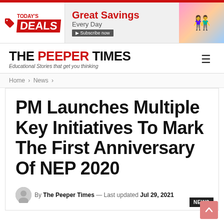[Figure (other): Advertisement banner: TODAY'S DEALS - Great Savings Every Day, Subscribe now button, with couple holding shopping bags]
THE PEEPER TIMES — Educational Stories that get you thinking
Home > News >
PM Launches Multiple Key Initiatives To Mark The First Anniversary Of NEP 2020
By The Peeper Times — Last updated Jul 29, 2021